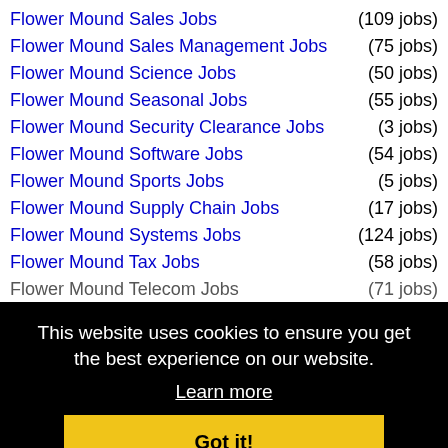Flower Mound Sales Jobs (109 jobs)
Flower Mound Sales Management Jobs (75 jobs)
Flower Mound Science Jobs (50 jobs)
Flower Mound Seasonal Jobs (55 jobs)
Flower Mound Security Clearance Jobs (3 jobs)
Flower Mound Software Jobs (54 jobs)
Flower Mound Sports Jobs (5 jobs)
Flower Mound Supply Chain Jobs (17 jobs)
Flower Mound Systems Jobs (124 jobs)
Flower Mound Tax Jobs (58 jobs)
Flower Mound Telecom Jobs (71 jobs)
Flower Mound Therapy Jobs (80 jobs)
Flower Mound Transportation Jobs (68 jobs)
Flower Mound Treasury Jobs (47 jobs)
Flower Mound Utilities Jobs (6 jobs)
Flower Mound Warehouse Jobs (21 jobs)
Flower Mound Wellness Jobs (99 jobs)
Flower Mound Wireless Jobs (5 jobs)
Flower Mound Work At Home Jobs (137 jobs)
This website uses cookies to ensure you get the best experience on our website. Learn more Got it!